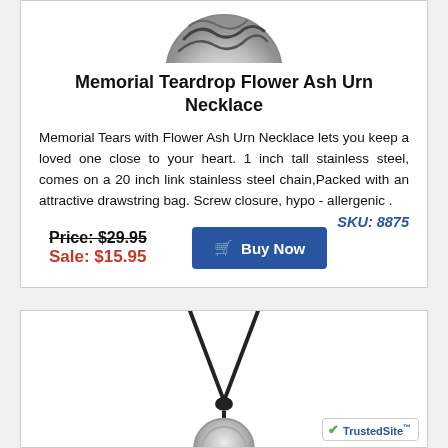[Figure (photo): Partial view of a circular silver pendant necklace with engraved wave/flower pattern, top portion visible]
Memorial Teardrop Flower Ash Urn Necklace
Memorial Tears with Flower Ash Urn Necklace lets you keep a loved one close to your heart. 1 inch tall stainless steel, comes on a 20 inch link stainless steel chain,Packed with an attractive drawstring bag. Screw closure, hypo - allergenic .
SKU: 8875
Price: $29.95
Sale: $15.95
[Figure (photo): Lower portion of a second product: a silver round pendant on a black cord necklace, partially visible]
[Figure (logo): TrustedSite badge with green checkmark]